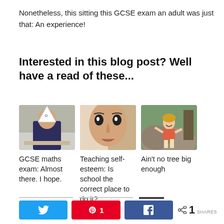Nonetheless, this sitting this GCSE exam an adult was just that: An experience!
Interested in this blog post? Well have a read of these...
[Figure (photo): Man wearing a paper dunce cap sitting at a desk, writing]
[Figure (photo): Close-up portrait of a woman's face with makeup]
[Figure (photo): Young girl climbing a rock outdoors]
GCSE maths exam: Almost there. I hope.
Teaching self-esteem: Is school the correct place to do it?
Ain't no tree big enough